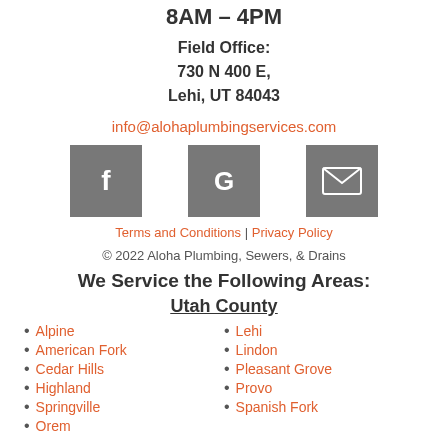8AM – 4PM
Field Office:
730 N 400 E,
Lehi, UT 84043
info@alohaplumbingservices.com
[Figure (logo): Three social/contact icons: Facebook (f), Google (G), and email (envelope), each in a gray square box]
Terms and Conditions | Privacy Policy
© 2022 Aloha Plumbing, Sewers, & Drains
We Service the Following Areas:
Utah County
Alpine
American Fork
Cedar Hills
Highland
Springville
Orem
Lehi
Lindon
Pleasant Grove
Provo
Spanish Fork